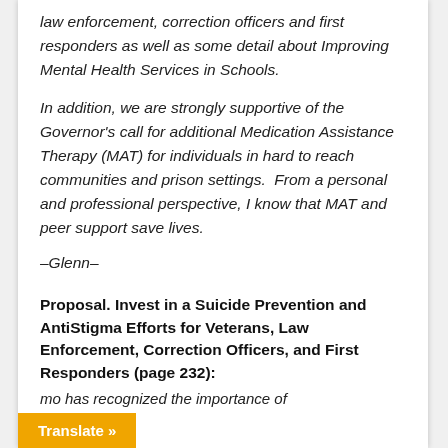law enforcement, correction officers and first responders as well as some detail about Improving Mental Health Services in Schools.
In addition, we are strongly supportive of the Governor's call for additional Medication Assistance Therapy (MAT) for individuals in hard to reach communities and prison settings.  From a personal and professional perspective, I know that MAT and peer support save lives.
–Glenn–
Proposal. Invest in a Suicide Prevention and AntiStigma Efforts for Veterans, Law Enforcement, Correction Officers, and First Responders (page 232):
mo has recognized the importance of